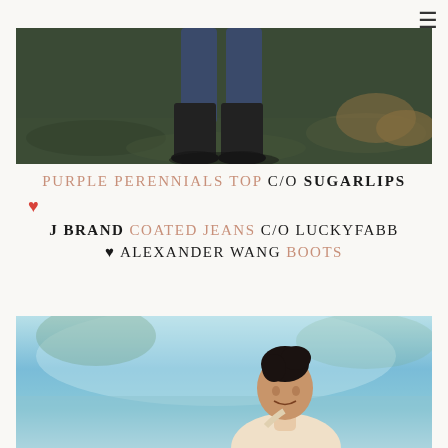[Figure (photo): Close-up photo of a person's legs in dark jeans and black boots standing on grass and fallen leaves outdoors]
PURPLE PERENNIALS TOP C/O SUGARLIPS
♥
J BRAND COATED JEANS C/O LUCKYFABB ♥ ALEXANDER WANG BOOTS
[Figure (photo): Photo of a smiling young woman with dark upswept hair, posed near a misty blue-green body of water with trees reflected in background]